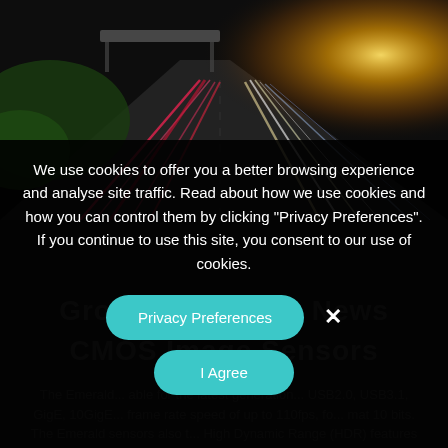[Figure (photo): Night highway with long-exposure light trails from car headlights and taillights, with green foliage on the left and bright light source on the right horizon]
We use cookies to offer you a better browsing experience and analyse site traffic. Read about how we use cookies and how you can control them by clicking "Privacy Preferences". If you continue to use this site, you consent to our use of cookies.
Privacy Preferences
I Agree
Ground Breaking News
CMOS Image Sensors
The Emerald... able for the latest generation... USB2.0, USB3.1, GigE, 10GigE... frame rate speed of up to 110fps, fo... mat 10 bits. The Emerald sensors also t... High Dynamic Range (HDR) features w... able end users to benefit